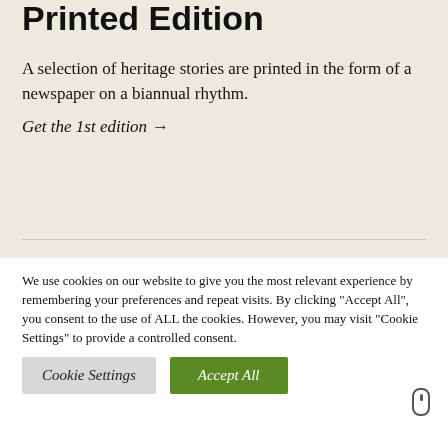Printed Edition
A selection of heritage stories are printed in the form of a newspaper on a biannual rhythm.
Get the 1st edition →
We use cookies on our website to give you the most relevant experience by remembering your preferences and repeat visits. By clicking "Accept All", you consent to the use of ALL the cookies. However, you may visit "Cookie Settings" to provide a controlled consent.